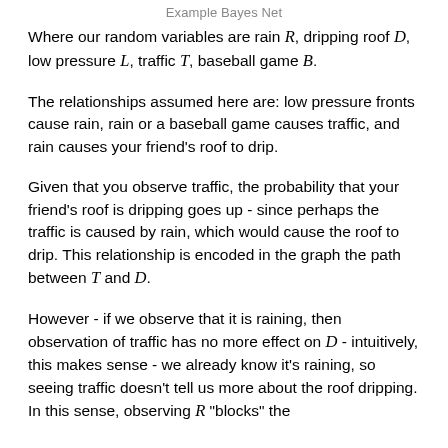Example Bayes Net
Where our random variables are rain R, dripping roof D, low pressure L, traffic T, baseball game B.
The relationships assumed here are: low pressure fronts cause rain, rain or a baseball game causes traffic, and rain causes your friend's roof to drip.
Given that you observe traffic, the probability that your friend's roof is dripping goes up - since perhaps the traffic is caused by rain, which would cause the roof to drip. This relationship is encoded in the graph the path between T and D.
However - if we observe that it is raining, then observation of traffic has no more effect on D - intuitively, this makes sense - we already know it's raining, so seeing traffic doesn't tell us more about the roof dripping. In this sense, observing R "blocks" the